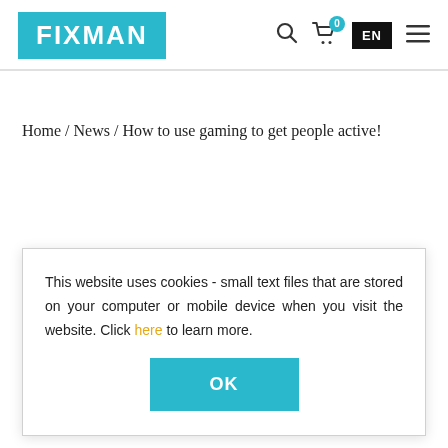FIXMAN
Home / News / How to use gaming to get people active!
This website uses cookies - small text files that are stored on your computer or mobile device when you visit the website. Click here to learn more.